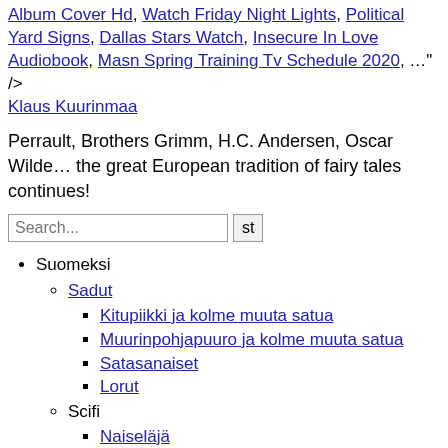Album Cover Hd, Watch Friday Night Lights, Political Yard Signs, Dallas Stars Watch, Insecure In Love Audiobook, Masn Spring Training Tv Schedule 2020, …" />
Klaus Kuurinmaa
Perrault, Brothers Grimm, H.C. Andersen, Oscar Wilde… the great European tradition of fairy tales continues!
Suomeksi
Sadut
Kitupiikki ja kolme muuta satua
Muurinpohjapuuro ja kolme muuta satua
Satasanaiset
Lorut
Scifi
Naiseläjä
Omega ja alfa
Harri Potaska
Klassisia satuja aikuisempaan makuun
Älä seuraa Jeesusta
Tietoja
Huvitus – nimen historia
Hahmo Jussi Hakasen synty